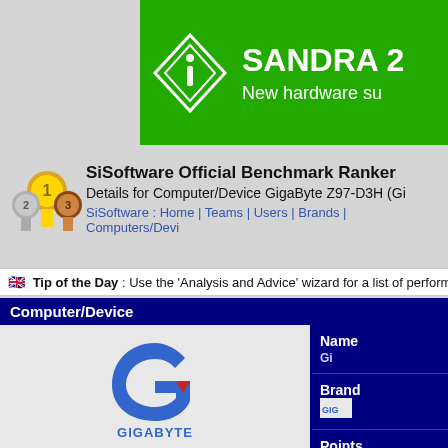[Figure (logo): SANDRA 2 green banner with diamond 'i' logo and text 'New hardware su...']
[Figure (logo): SiSoftware medal/ranker icon with gold #1, silver #2, bronze #3 medals]
SiSoftware Official Benchmark Ranker
Details for Computer/Device GigaByte Z97-D3H (Gi...
SiSoftware : Home | Teams | Users | Brands | Computers/Devi...
Tip of the Day : Use the 'Analysis and Advice' wizard for a list of perform...
Computer/Device
|  | Name | Gi... |
| --- | --- | --- |
| GigaByte logo | Brand | GIG... |
| GigaByte Z97-D3H (GigaByte Z97-D3H-CF) | Points | 3,7... |
|  | Platform | De... |
|  | Price |  |